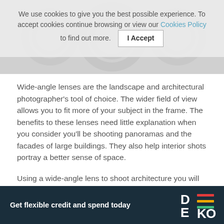We use cookies to give you the best possible experience. To accept cookies continue browsing or view our Cookies Policy to find out more. | I Accept
Wide-angle lenses are the landscape and architectural photographer's tool of choice. The wider field of view allows you to fit more of your subject in the frame. The benefits to these lenses need little explanation when you consider you'll be shooting panoramas and the facades of large buildings. They also help interior shots portray a better sense of space.
Using a wide-angle lens to shoot architecture you will encounter converging verticals in your photography. Many cameras have features to correct this in-body, alternatively, this can be corrected in post or with the
Get flexible credit and spend today